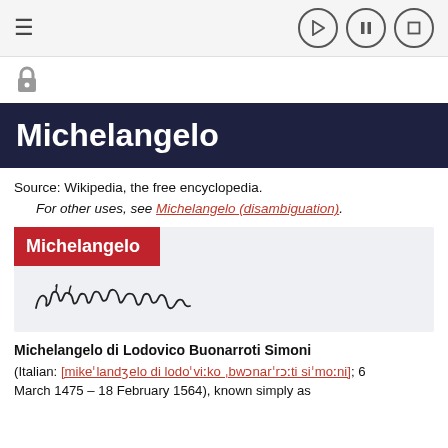≡  ▷  ⏸  ◻
[Figure (other): Lock icon (audio lock indicator)]
Michelangelo
Source: Wikipedia, the free encyclopedia.
For other uses, see Michelangelo (disambiguation).
[Figure (other): Infobox with red header 'Michelangelo' and handwritten signature]
Michelangelo di Lodovico Buonarroti Simoni
(Italian: [mikeˈlandʒelo di lodoˈviːko ˌbwɔnarˈrɔːti siˈmoːni]; 6 March 1475 – 18 February 1564), known simply as